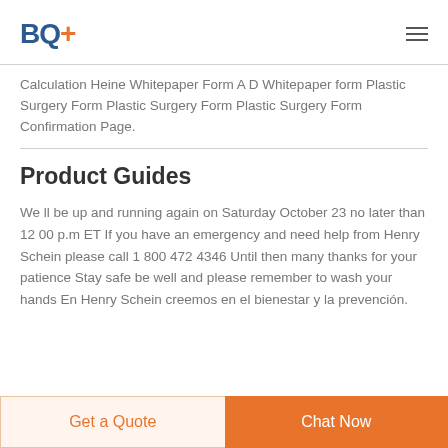BQ+
Calculation Heine Whitepaper Form A D Whitepaper form Plastic Surgery Form Plastic Surgery Form Plastic Surgery Form Confirmation Page.
Product Guides
We ll be up and running again on Saturday October 23 no later than 12 00 p.m ET If you have an emergency and need help from Henry Schein please call 1 800 472 4346 Until then many thanks for your patience Stay safe be well and please remember to wash your hands En Henry Schein creemos en el bienestar y la prevención.